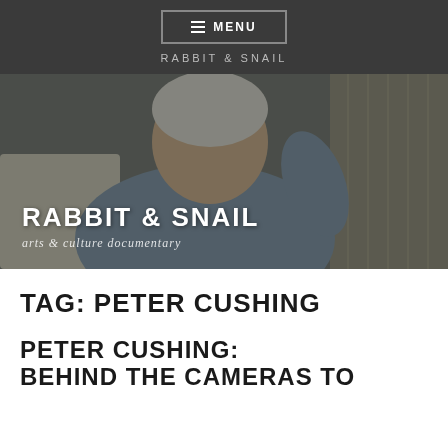≡ MENU
RABBIT & SNAIL
[Figure (photo): Photo of an elderly smiling man with white hair, wearing a light blue jacket, seated on a sofa. Overlaid with large white bold text 'RABBIT & SNAIL' and italic subtitle 'arts & culture documentary'.]
RABBIT & SNAIL
arts & culture documentary
TAG: PETER CUSHING
PETER CUSHING: BEHIND THE CAMERAS TO